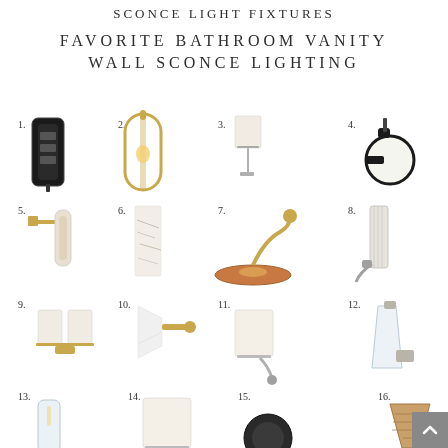SCONCE LIGHT FIXTURES
FAVORITE BATHROOM VANITY WALL SCONCE LIGHTING
[Figure (infographic): Grid of 16 numbered bathroom vanity wall sconce light fixtures (1-16), each showing a product photo of a different sconce style including industrial, brass, marble, globe, and arm-mounted sconces.]